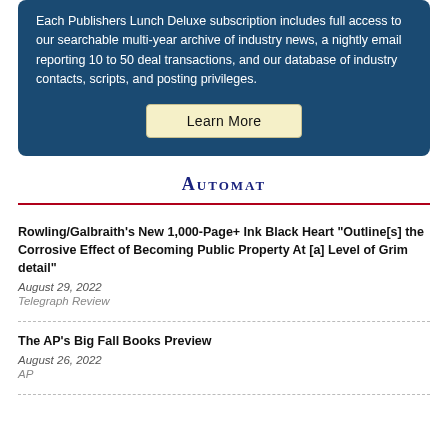Each Publishers Lunch Deluxe subscription includes full access to our searchable multi-year archive of industry news, a nightly email reporting 10 to 50 deal transactions, and our database of industry contacts, scripts, and posting privileges.
Learn More
Automat
Rowling/Galbraith's New 1,000-Page+ Ink Black Heart "Outline[s] the Corrosive Effect of Becoming Public Property At [a] Level of Grim detail"
August 29, 2022
Telegraph Review
The AP's Big Fall Books Preview
August 26, 2022
AP